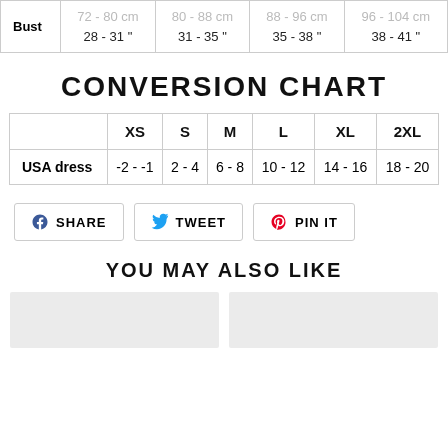|  | XS | S | M | XL | 2XL |
| --- | --- | --- | --- | --- | --- |
| Bust | 72 - 80 cm
28 - 31 " | 80 - 88 cm
31 - 35 " | 88 - 96 cm
35 - 38 " | 96 - 104 cm
38 - 41 " |
CONVERSION CHART
|  | XS | S | M | L | XL | 2XL |
| --- | --- | --- | --- | --- | --- | --- |
| USA dress | -2 - -1 | 2 - 4 | 6 - 8 | 10 - 12 | 14 - 16 | 18 - 20 |
SHARE   TWEET   PIN IT
YOU MAY ALSO LIKE